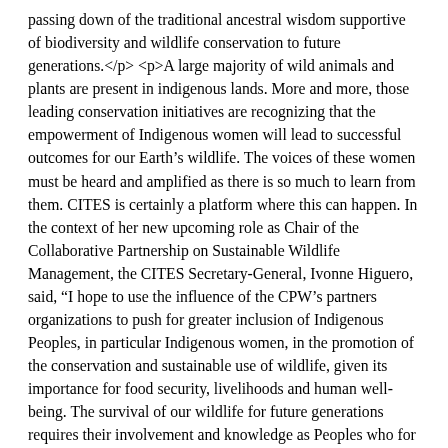passing down of the traditional ancestral wisdom supportive of biodiversity and wildlife conservation to future generations.</p> <p>A large majority of wild animals and plants are present in indigenous lands. More and more, those leading conservation initiatives are recognizing that the empowerment of Indigenous women will lead to successful outcomes for our Earth's wildlife. The voices of these women must be heard and amplified as there is so much to learn from them. CITES is certainly a platform where this can happen. In the context of her new upcoming role as Chair of the Collaborative Partnership on Sustainable Wildlife Management, the CITES Secretary-General, Ivonne Higuero, said, “I hope to use the influence of the CPW’s partners organizations to push for greater inclusion of Indigenous Peoples, in particular Indigenous women, in the promotion of the conservation and sustainable use of wildlife, given its importance for food security, livelihoods and human well-being. The survival of our wildlife for future generations requires their involvement and knowledge as Peoples who for so long have looked after so much of the world’s wildlife resources.”</p> <p>In November this year, the World Wildlife Conference will meet in Panama. It is the nineteenth meeting of the Conference of the Parties to CITES (CoP19) and the decisions that are taken there will shape the global approach to conservation and sustainable use of wildlife over the next years. One of the issues that has been both recognized and promoted is the involvement of Indigenous People and Local Communities in